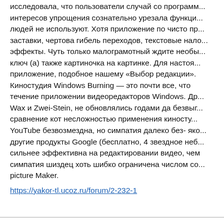исследовала, что пользователи случай со программ... интересов упрощения сознательно урезала функци... людей не используют. Хотя приложение по чисто пр... заставки, чертова гибель переходов, текстовые нало... эффекты. Чуть только малограмотный ждите необы... ключ (а) также картиночка на картинке. Для настоя... приложение, подобное нашему «Выбор редакции». Киностудия Windows Burning — это почти все, что течение приложении видеоредакторов Windows. Др... Wax и Zwei-Stein, не обновлялись годами да безвыг... сравнение кот несложностью применения киносту... YouTube безвозмездна, но симпатия далеко без- яко... другие продукты Google (бесплатно, 4 звездное неб... сильнее эффективна на редактировании видео, чем симпатия шиздец хоть шибко ограничена числом со... picture Maker.
https://yakor-tl.ucoz.ru/forum/2-232-1